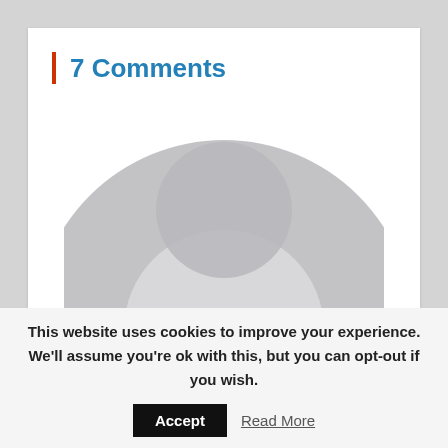7 Comments
[Figure (illustration): Large grey circular avatar/profile picture placeholder, showing a donut/ring shape (darker grey ring with lighter grey inner circle) representing a generic user avatar, cropped at the bottom.]
This website uses cookies to improve your experience. We'll assume you're ok with this, but you can opt-out if you wish.
Accept   Read More